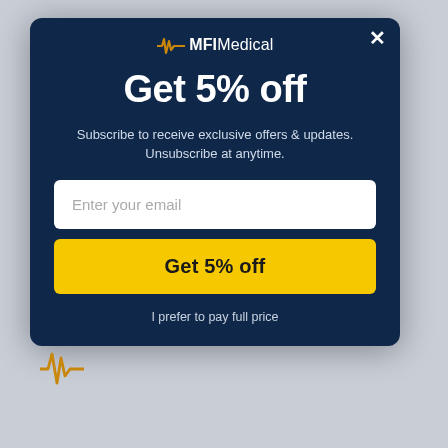[Figure (logo): MFI Medical logo with orange pulse/waveform icon and text 'MFI Medical' in white]
Get 5% off
Subscribe to receive exclusive offers & updates.
Unsubscribe at anytime.
Enter your email
Get 5% off
I prefer to pay full price
[Figure (logo): MFI Medical orange pulse/waveform icon at bottom left]